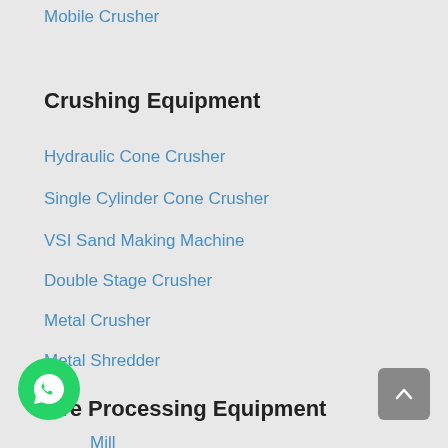Mobile Crusher
Crushing Equipment
Hydraulic Cone Crusher
Single Cylinder Cone Crusher
VSI Sand Making Machine
Double Stage Crusher
Metal Crusher
Metal Shredder
Ore Processing Equipment
Mill
Rotary Kiln